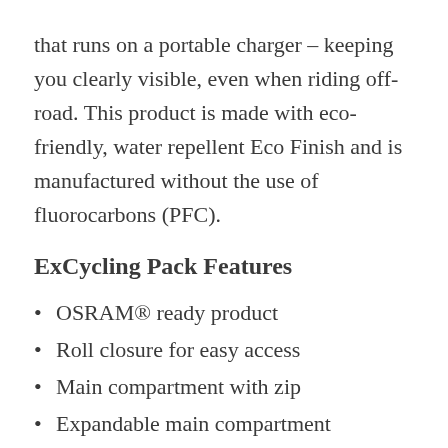that runs on a portable charger – keeping you clearly visible, even when riding off-road. This product is made with eco-friendly, water repellent Eco Finish and is manufactured without the use of fluorocarbons (PFC).
ExCycling Pack Features
OSRAM® ready product
Roll closure for easy access
Main compartment with zip
Expandable main compartment
An organiser in front compartment
Front outer pocket
Reflective straps for visibility and attachment
Notebook compartment accessible from the top and side